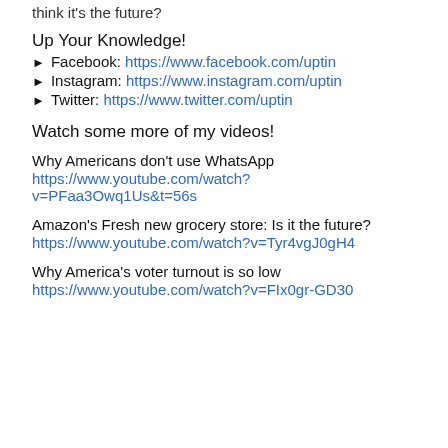think it's the future?
Up Your Knowledge!
► Facebook: https://www.facebook.com/uptin
► Instagram: https://www.instagram.com/uptin
► Twitter: https://www.twitter.com/uptin
Watch some more of my videos!
Why Americans don't use WhatsApp
https://www.youtube.com/watch?v=PFaa3Owq1Us&t=56s
Amazon's Fresh new grocery store: Is it the future?
https://www.youtube.com/watch?v=Tyr4vgJ0gH4
Why America's voter turnout is so low
https://www.youtube.com/watch?v=FIx0gr-GD30